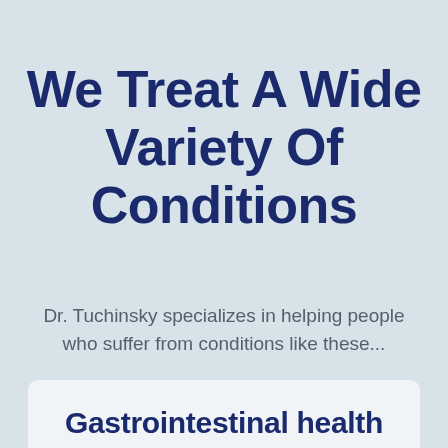We Treat A Wide Variety Of Conditions
Dr. Tuchinsky specializes in helping people who suffer from conditions like these...
Gastrointestinal health